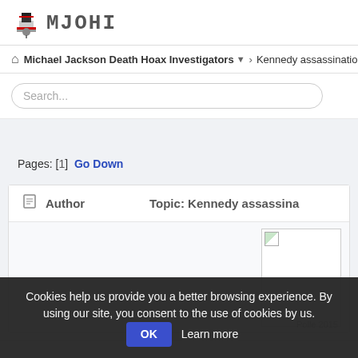[Figure (logo): MJOHI logo with Uncle Sam hat icon and stylized text reading MJOHI]
Michael Jackson Death Hoax Investigators ▼ › Kennedy assassination a
Search...
Pages: [1]  Go Down
| Author | Topic: Kennedy assassina |
| --- | --- |
|  |   |
[Figure (photo): Small broken image placeholder in white box]
Polle 2015
Cookies help us provide you a better browsing experience. By using our site, you consent to the use of cookies by us.  OK  Learn more